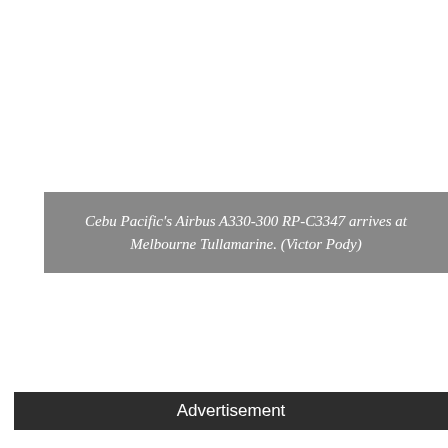Cebu Pacific's Airbus A330-300 RP-C3347 arrives at Melbourne Tullamarine. (Victor Pody)
Advertisement